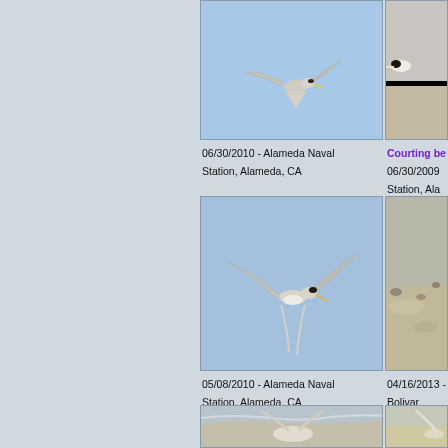[Figure (photo): Bird in flight against blue sky, viewed from below, Alameda Naval Station]
06/30/2010 - Alameda Naval Station, Alameda, CA
[Figure (photo): Partial view of bird on sandy ground, with link text 'Courting be...']
Courting be...
06/30/2009 - Station, Ala...
[Figure (photo): Bird in flight against blue sky, wings spread wide, viewed from below, Alameda Naval Station]
05/08/2010 - Alameda Naval Station, Alameda, CA
[Figure (photo): Partial view of bird on sandy beach, Bolivar Peninsula]
04/16/2013 - Bolivar Pen...
[Figure (photo): Bird at water's edge on sandy beach, partially visible]
[Figure (photo): Partial right-side photo of bird, partially visible]